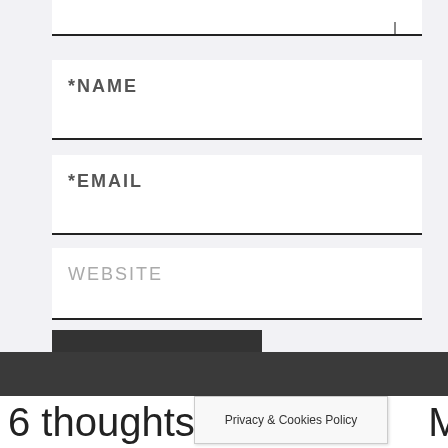*NAME
*EMAIL
WEBSITE
POST COMMENT
6 thoughts on
Privacy & Cookies Policy
Mort